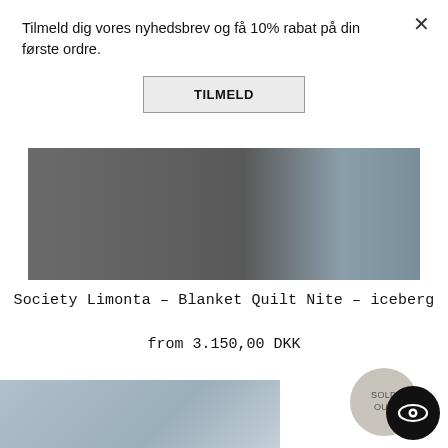Tilmeld dig vores nyhedsbrev og få 10% rabat på din første ordre.
TILMELD
[Figure (photo): Close-up of dark charcoal/grey quilted blanket fabric with iceberg blue section visible on right side]
Society Limonta - Blanket Quilt Nite - iceberg
from 3.150,00 DKK
[Figure (infographic): SOLD OUT badge - circular light beige/grey badge with text SOLD OUT]
[Figure (illustration): Eye icon in dark circle - accessibility/wishlist button]
[Figure (photo): Bottom portion of another product image showing light blue/grey quilted fabric]